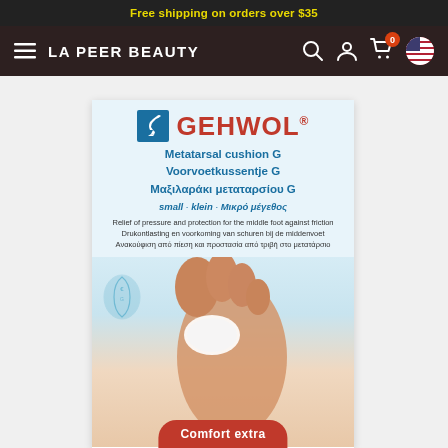Free shipping on orders over $35
[Figure (logo): LA PEER BEAUTY navigation bar with hamburger menu, search, account, cart (0), and US flag icons]
[Figure (photo): GEHWOL Metatarsal cushion G product packaging showing foot with cushion, multilingual text in English, Dutch, and Greek. Small size. Relief of pressure and protection for the middle foot against friction. Comfort extra label at bottom.]